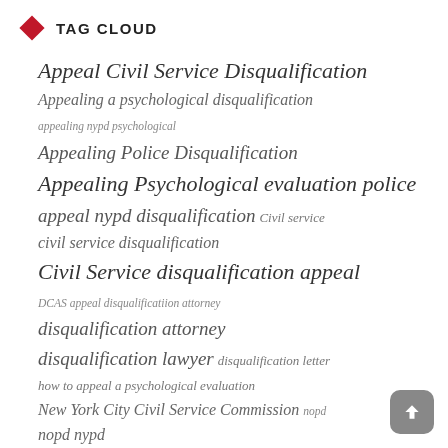TAG CLOUD
Appeal Civil Service Disqualification
Appealing a psychological disqualification
appealing nypd psychological
Appealing Police Disqualification
Appealing Psychological evaluation police
appeal nypd disqualification Civil service civil service disqualification
Civil Service disqualification appeal
DCAS appeal disqualificatiion attorney
disqualification attorney
disqualification lawyer disqualification letter
how to appeal a psychological evaluation
New York City Civil Service Commission nopd
nopd nypd
NOPD PSYCH INTERVIEW
notice of proposed disqualification nypd